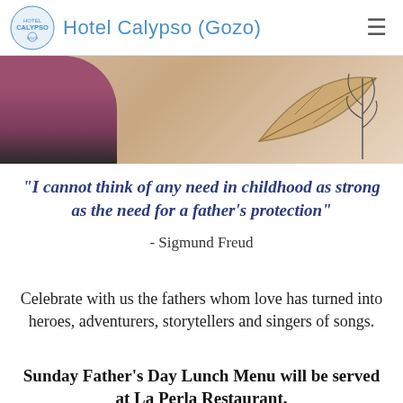Hotel Calypso (Gozo)
[Figure (photo): Hero banner image showing a person in a purple/maroon top with decorative leaf/plant illustrations on a beige background]
"I cannot think of any need in childhood as strong as the need for a father's protection"
- Sigmund Freud
Celebrate with us the fathers whom love has turned into heroes, adventurers, storytellers and singers of songs.
Sunday Father's Day Lunch Menu will be served at La Perla Restaurant.